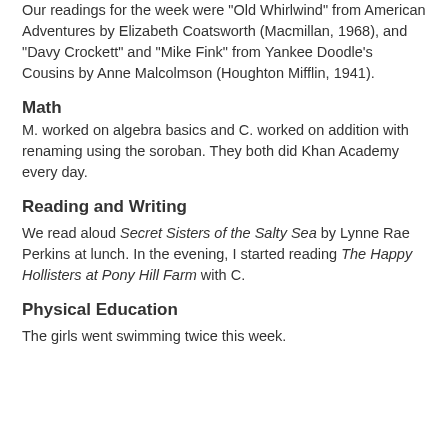Our readings for the week were "Old Whirlwind" from American Adventures by Elizabeth Coatsworth (Macmillan, 1968), and "Davy Crockett" and "Mike Fink" from Yankee Doodle's Cousins by Anne Malcolmson (Houghton Mifflin, 1941).
Math
M. worked on algebra basics and C. worked on addition with renaming using the soroban. They both did Khan Academy every day.
Reading and Writing
We read aloud Secret Sisters of the Salty Sea by Lynne Rae Perkins at lunch. In the evening, I started reading The Happy Hollisters at Pony Hill Farm with C.
Physical Education
The girls went swimming twice this week.